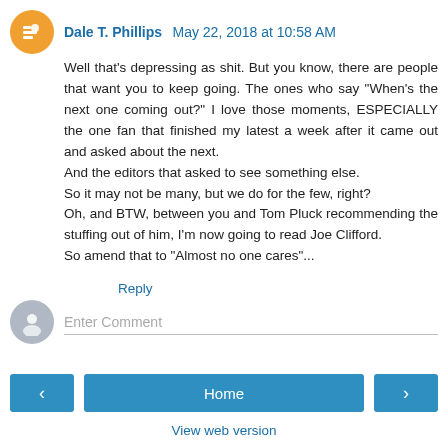Dale T. Phillips  May 22, 2018 at 10:58 AM
Well that's depressing as shit. But you know, there are people that want you to keep going. The ones who say "When's the next one coming out?" I love those moments, ESPECIALLY the one fan that finished my latest a week after it came out and asked about the next.
And the editors that asked to see something else.
So it may not be many, but we do for the few, right?
Oh, and BTW, between you and Tom Pluck recommending the stuffing out of him, I'm now going to read Joe Clifford.
So amend that to "Almost no one cares"...
Reply
Enter Comment
Home
View web version